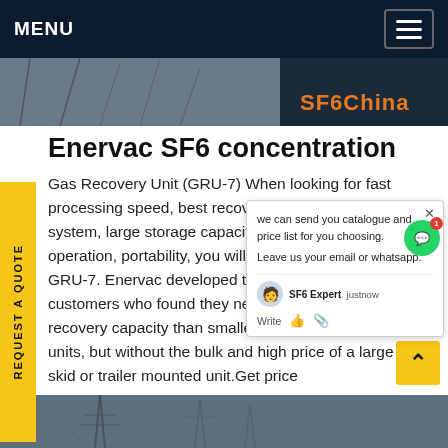MENU
[Figure (screenshot): Hero banner image with SF6China orange logo text overlay on dark background, showing electrical cables/wires]
Enervac SF6 concentration
Gas Recovery Unit (GRU-7) When looking for fast processing speed, best recovery, a 100% oil-less system, large storage capacity, easy single valve operation, portability, you will find it with the Enervac GRU-7. Enervac developed the GRU-7 for our customers who found they needed more storage and recovery capacity than smaller handcart mounted units, but without the bulk and high price of a large skid or trailer mounted unit.Get price
[Figure (screenshot): Chat popup overlay with text 'we can send you catalogue and price list for you choosing. Leave us your email or whatsapp.' with SF6 Expert avatar and justnow timestamp, Write input area]
[Figure (screenshot): Bottom image strip showing electrical transmission tower infrastructure]